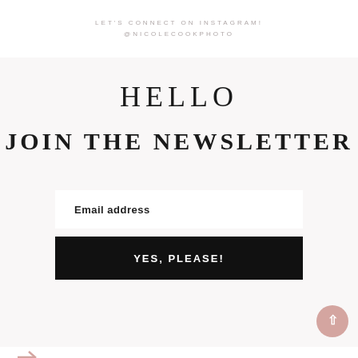LET'S CONNECT ON INSTAGRAM!
@NICOLECOOKPHOTO
HELLO
JOIN THE NEWSLETTER
Email address
YES, PLEASE!
COPYRIGHT © 2022 · NICOLE COOK PHOTOGRAPHY ·